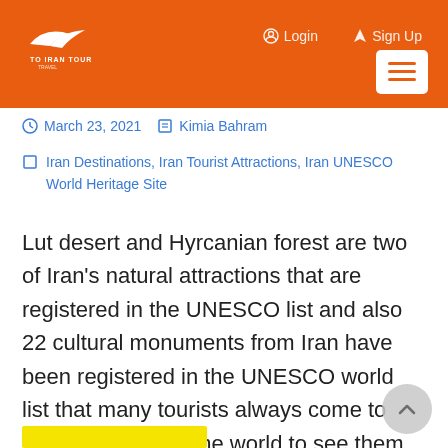To Iran Tour — Login | Sign Up
March 23, 2021   Kimia Bahram
Iran Destinations, Iran Tourist Attractions, Iran UNESCO World Heritage Site
Lut desert and Hyrcanian forest are two of Iran's natural attractions that are registered in the UNESCO list and also 22 cultural monuments from Iran have been registered in the UNESCO world list that many tourists always come to Iran from all over the world to see them.